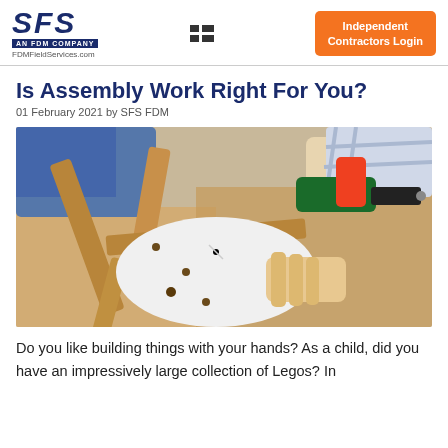SFS FDMFieldServices.com | Independent Contractors Login
Is Assembly Work Right For You?
01 February 2021 by SFS FDM
[Figure (photo): Person assembling wooden furniture chair legs using a power drill, with cardboard boxes in the background.]
Do you like building things with your hands? As a child, did you have an impressively large collection of Legos? In